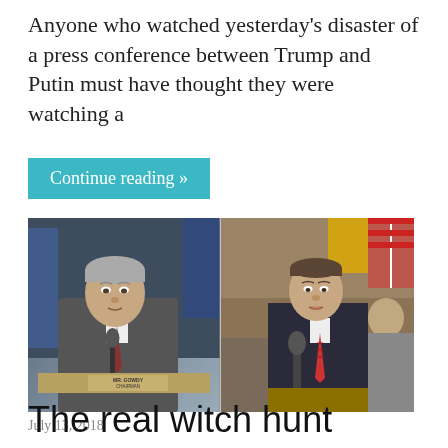Anyone who watched yesterday's disaster of a press conference between Trump and Putin must have thought they were watching a
Continue reading »
[Figure (photo): Split image showing two men: on the left, a man with gray hair sitting at a congressional hearing desk with a nameplate reading 'MR. GOWDY CHAIRMAN'; on the right, a man in a dark suit with a red tie speaking at a podium/microphone at what appears to be a congressional hearing room.]
July 13, 2018
The real witch hunt